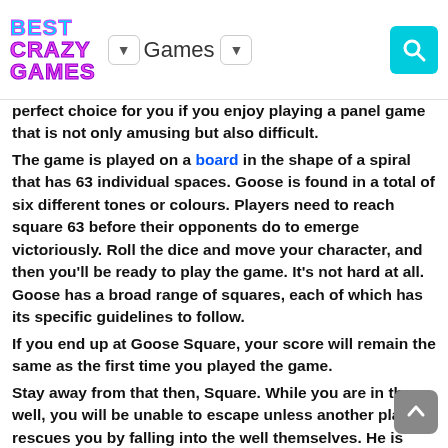BestCrazyGames | Games dropdown | Search button
perfect choice for you if you enjoy playing a panel game that is not only amusing but also difficult. The game is played on a board in the shape of a spiral that has 63 individual spaces. Goose is found in a total of six different tones or colours. Players need to reach square 63 before their opponents do to emerge victoriously. Roll the dice and move your character, and then you'll be ready to play the game. It's not hard at all. Goose has a broad range of squares, each of which has its specific guidelines to follow. If you end up at Goose Square, your score will remain the same as the first time you played the game. Stay away from that then, Square. While you are in the well, you will be unable to escape unless another player rescues you by falling into the well themselves. He is going to assume your role. Like before, you'll be spending some time behind bars